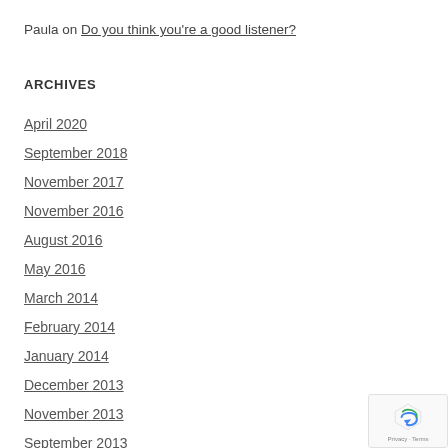Paula on Do you think you're a good listener?
ARCHIVES
April 2020
September 2018
November 2017
November 2016
August 2016
May 2016
March 2014
February 2014
January 2014
December 2013
November 2013
September 2013